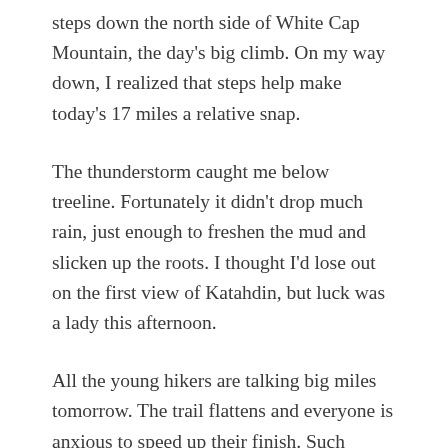steps down the north side of White Cap Mountain, the day's big climb. On my way down, I realized that steps help make today's 17 miles a relative snap.
The thunderstorm caught me below treeline. Fortunately it didn't drop much rain, just enough to freshen the mud and slicken up the roots. I thought I'd lose out on the first view of Katahdin, but luck was a lady this afternoon.
All the young hikers are talking big miles tomorrow. The trail flattens and everyone is anxious to speed up their finish. Such competition is the coin of the realm for young men.
My resupply is supposed to be delivered sometime tomorrow, tho I don't know what time. So as for my